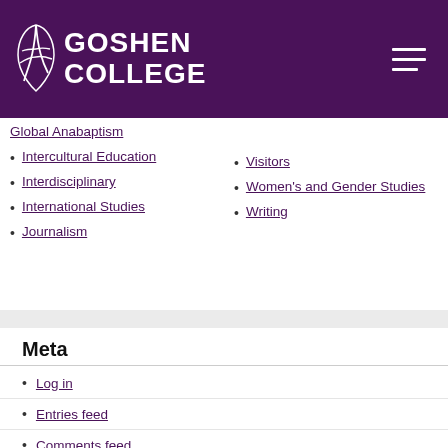Goshen College
Global Anabaptism
Intercultural Education
Interdisciplinary
International Studies
Journalism
Visitors
Women's and Gender Studies
Writing
Meta
Log in
Entries feed
Comments feed